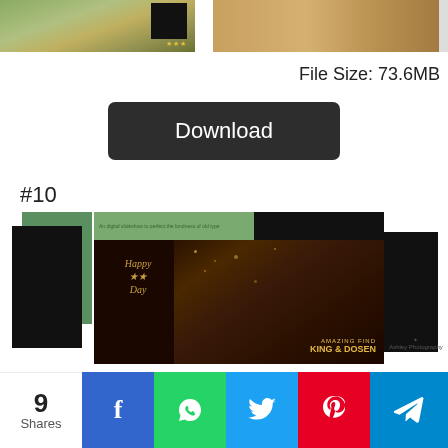[Figure (screenshot): Top row of preview thumbnail images - garden/patio photo on left, stone pavement photo on right]
File Size: 73.6MB
[Figure (screenshot): Download button (dark rounded rectangle)]
#10
[Figure (screenshot): Preview screenshot of item #10 - green and black panel layout with Happy Day text overlay and city night scene background]
File Size: 56.2MB
[Figure (screenshot): Partially visible Download button]
[Figure (screenshot): Social share bar with 9 Shares, Facebook, WhatsApp, Twitter, Pinterest, Telegram buttons]